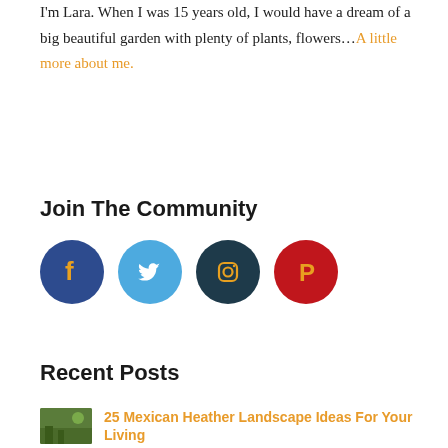I'm Lara. When I was 15 years old, I would have a dream of a big beautiful garden with plenty of plants, flowers...A little more about me.
Join The Community
[Figure (infographic): Four social media icon circles: Facebook (dark blue), Twitter (sky blue), Instagram (dark teal), Pinterest (red)]
Recent Posts
[Figure (photo): Small thumbnail image of green garden/landscape]
25 Mexican Heather Landscape Ideas For Your Living